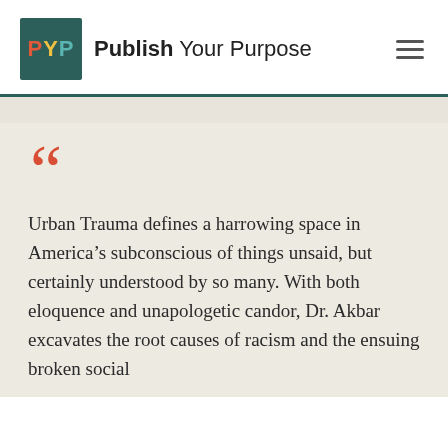[Figure (logo): Publish Your Purpose logo with teal square containing PYP letters and brand name text]
Urban Trauma defines a harrowing space in America's subconscious of things unsaid, but certainly understood by so many. With both eloquence and unapologetic candor, Dr. Akbar excavates the root causes of racism and the ensuing broken social